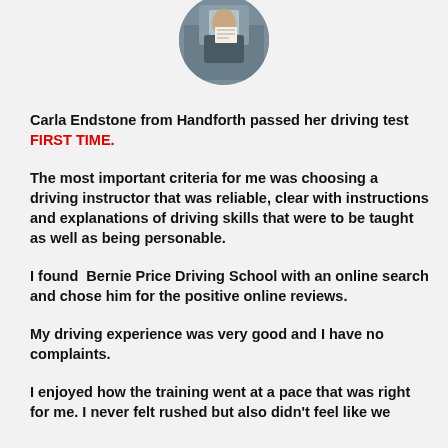[Figure (photo): Circular cropped profile photo of a person holding something, taken inside a car, visible at the top center of the page.]
Carla Endstone from Handforth passed her driving test   FIRST TIME.
The most important criteria for me was choosing a driving instructor that was reliable, clear with instructions and explanations of driving skills that were to be taught as well as being personable.
I found  Bernie Price Driving School with an online search and chose him for the positive online reviews.
My driving experience was very good and I have no complaints.
I enjoyed how the training went at a pace that was right for me. I never felt rushed but also didn't feel like we